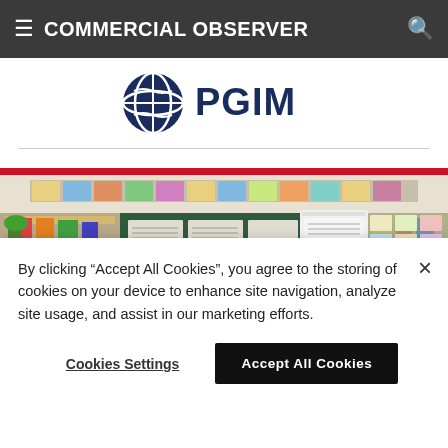≡ COMMERCIAL OBSERVER
[Figure (logo): PGIM logo with globe/wave icon and PGIM text in dark navy blue]
[Figure (photo): Classroom interior photo showing an air purifier unit labeled 'AirPurifier' standing in front of a green chalkboard, with colorful shelves, children's work posted on walls, and classroom furniture]
By clicking "Accept All Cookies", you agree to the storing of cookies on your device to enhance site navigation, analyze site usage, and assist in our marketing efforts.
Cookies Settings | Accept All Cookies